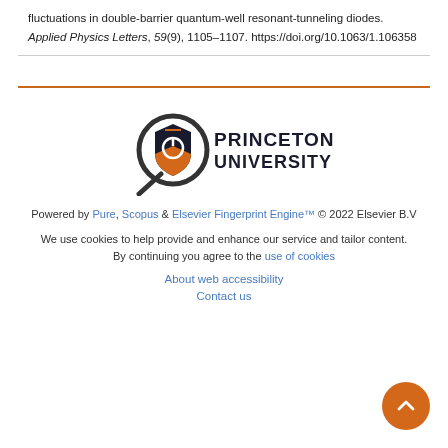fluctuations in double-barrier quantum-well resonant-tunneling diodes. Applied Physics Letters, 59(9), 1105–1107. https://doi.org/10.1063/1.106358
[Figure (logo): Princeton University logo with magnifying glass and shield icon, text reads PRINCETON UNIVERSITY]
Powered by Pure, Scopus & Elsevier Fingerprint Engine™ © 2022 Elsevier B.V
We use cookies to help provide and enhance our service and tailor content. By continuing you agree to the use of cookies
About web accessibility
Contact us